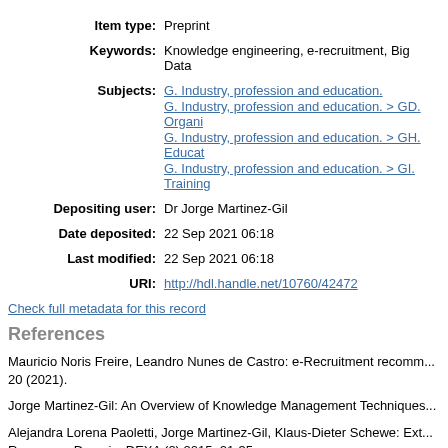Item type: Preprint
Keywords: Knowledge engineering, e-recruitment, Big Data
Subjects: G. Industry, profession and education. | G. Industry, profession and education. > GD. Organi... | G. Industry, profession and education. > GH. Educat... | G. Industry, profession and education. > GI. Training...
Depositing user: Dr Jorge Martinez-Gil
Date deposited: 22 Sep 2021 06:18
Last modified: 22 Sep 2021 06:18
URI: http://hdl.handle.net/10760/42472
Check full metadata for this record
References
Mauricio Noris Freire, Leandro Nunes de Castro: e-Recruitment recomm... 20 (2021).
Jorge Martinez-Gil: An Overview of Knowledge Management Techniques...
Alejandra Lorena Paoletti, Jorge Martinez-Gil, Klaus-Dieter Schewe: Ext... Resources Domain. DEXA (2) 2015: 21-35.
Alejandra Lorena Paoletti, Jorge Martinez-Gil, Klaus-Dieter Schewe: Top... Knowledge Bases. DEXA (2) 2016: 295-302.
Jorge Martinez-Gil: Automated knowledge base management: A surv...